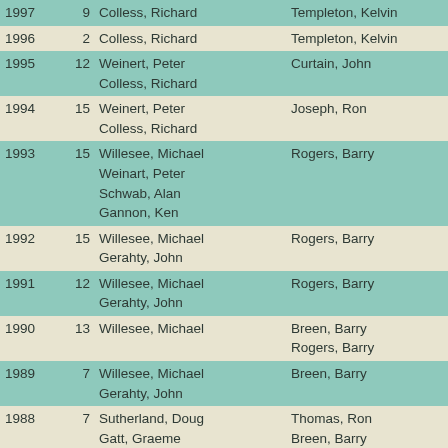| Year | # | Names (col3) | Names (col4) |
| --- | --- | --- | --- |
| 1997 | 9 | Colless, Richard | Templeton, Kelvin |
| 1996 | 2 | Colless, Richard | Templeton, Kelvin |
| 1995 | 12 | Weinert, Peter
Colless, Richard | Curtain, John |
| 1994 | 15 | Weinert, Peter
Colless, Richard | Joseph, Ron |
| 1993 | 15 | Willesee, Michael
Weinart, Peter
Schwab, Alan
Gannon, Ken | Rogers, Barry |
| 1992 | 15 | Willesee, Michael
Gerahty, John | Rogers, Barry |
| 1991 | 12 | Willesee, Michael
Gerahty, John | Rogers, Barry |
| 1990 | 13 | Willesee, Michael | Breen, Barry
Rogers, Barry |
| 1989 | 7 | Willesee, Michael
Gerahty, John | Breen, Barry |
| 1988 | 7 | Sutherland, Doug
Gatt, Graeme | Thomas, Ron
Breen, Barry |
| 1987 | 4 | Sutherland, Doug | Thomas, Ron |
| 1986 | 4 | Edelsten, Geoff
Sutherland, Doug | Thomas, Ron |
| 1985 | 10 | Edelsten, Geoff | Roach, Don |